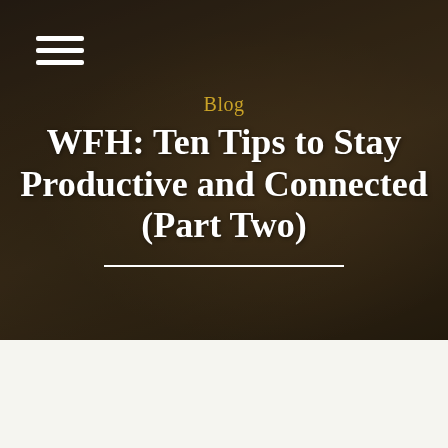[Figure (photo): Dark moody photo of a home office desk with a laptop, coffee mug, plant, and framed picture in the background, overlaid with dark semi-transparent gradient]
☰
Blog
WFH: Ten Tips to Stay Productive and Connected (Part Two)
CATEGORY: Blog